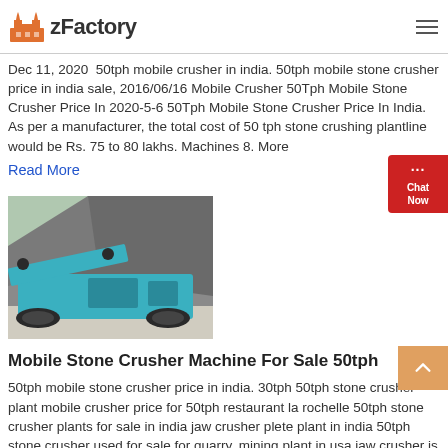zFactory
Dec 11, 2020  50tph mobile crusher in india. 50tph mobile stone crusher price in india sale, 2016/06/16 Mobile Crusher 50Tph Mobile Stone Crusher Price In 2020-5-6 50Tph Mobile Stone Crusher Price In India. As per a manufacturer, the total cost of 50 tph stone crushing plantline would be Rs. 75 to 80 lakhs. Machines 8. More
Read More
[Figure (photo): Blue mobile stone crusher machine photographed outdoors near rocky terrain]
Mobile Stone Crusher Machine For Sale 50tph
50tph mobile stone crusher price in india. 30tph 50tph stone crusher plant mobile crusher price for 50tph restaurant la rochelle 50tph stone crusher plants for sale in india jaw crusher plete plant in india 50tph stone crusher used for sale for quarry, mining plant in usa jaw crusher is commo. Read More: 50tph mobile stone crusher price in